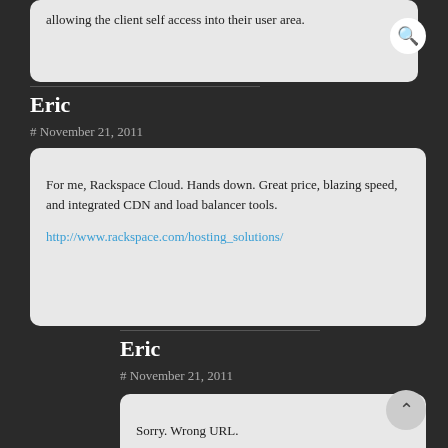allowing the client self access into their user area.
Eric
# November 21, 2011
For me, Rackspace Cloud. Hands down. Great price, blazing speed, and integrated CDN and load balancer tools.

http://www.rackspace.com/hosting_solutions/
Eric
# November 21, 2011
Sorry. Wrong URL.